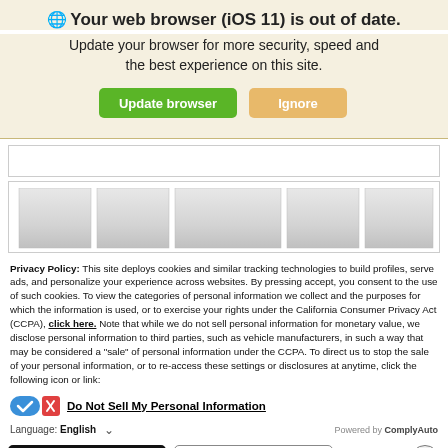Your web browser (iOS 11) is out of date.
Update your browser for more security, speed and the best experience on this site.
[Figure (screenshot): Two buttons: 'Update browser' (green) and 'Ignore' (tan/orange)]
[Figure (screenshot): Empty white content area with border]
[Figure (screenshot): Table preview area showing five gray column blocks]
Privacy Policy: This site deploys cookies and similar tracking technologies to build profiles, serve ads, and personalize your experience across websites. By pressing accept, you consent to the use of such cookies. To view the categories of personal information we collect and the purposes for which the information is used, or to exercise your rights under the California Consumer Privacy Act (CCPA), click here. Note that while we do not sell personal information for monetary value, we disclose personal information to third parties, such as vehicle manufacturers, in such a way that may be considered a "sale" of personal information under the CCPA. To direct us to stop the sale of your personal information, or to re-access these settings or disclosures at anytime, click the following icon or link:
Do Not Sell My Personal Information
Language: English
Powered by ComplyAuto
Accept and Continue →
California Privacy Disclosures